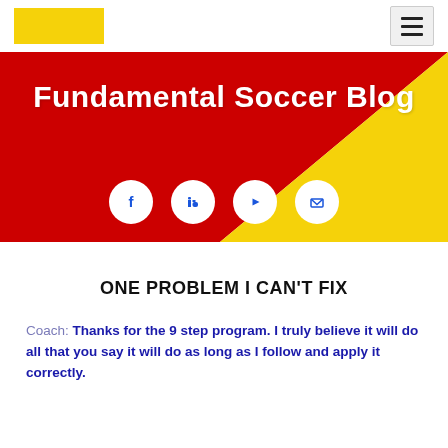[Figure (logo): Yellow rectangle logo placeholder in the top-left navigation bar]
[Figure (illustration): Hamburger menu icon (three horizontal lines) in a light grey box, top-right of navigation bar]
[Figure (illustration): Banner with diagonal red and yellow background sections. Title 'Fundamental Soccer Blog' in white bold text. Four white circular social media icons: Facebook, LinkedIn, YouTube, and Email.]
ONE PROBLEM I CAN'T FIX
Coach: Thanks for the 9 step program. I truly believe it will do all that you say it will do as long as I follow and apply it correctly.